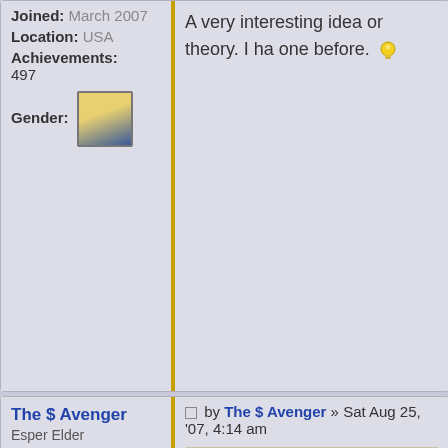Joined: March 2007
Location: USA
Achievements: 497
Gender: [avatar image]
A very interesting idea or theory. I ha... one before.
The $ Avenger
Esper Elder
Posts: 990
Joined: June 2007
Achievements: 7
by The $ Avenger » Sat Aug 25, '07, 4:14 am
DivineDragon wrote: Quote: As a story embedded in Plato's dia... generally seen as a myth created... political theories.
That's what I recall being the first re... Atlantis.